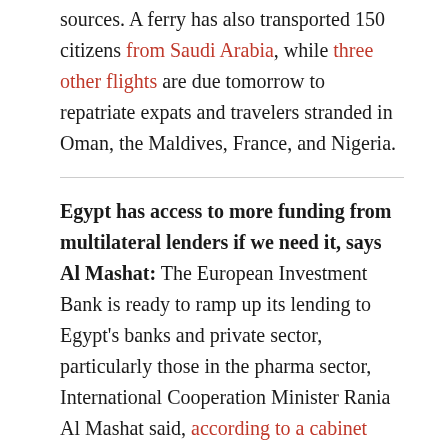sources. A ferry has also transported 150 citizens from Saudi Arabia, while three other flights are due tomorrow to repatriate expats and travelers stranded in Oman, the Maldives, France, and Nigeria.
Egypt has access to more funding from multilateral lenders if we need it, says Al Mashat: The European Investment Bank is ready to ramp up its lending to Egypt's banks and private sector, particularly those in the pharma sector, International Cooperation Minister Rania Al Mashat said, according to a cabinet statement. The minister also noted the European Bank for Reconstruction and Development has expanded